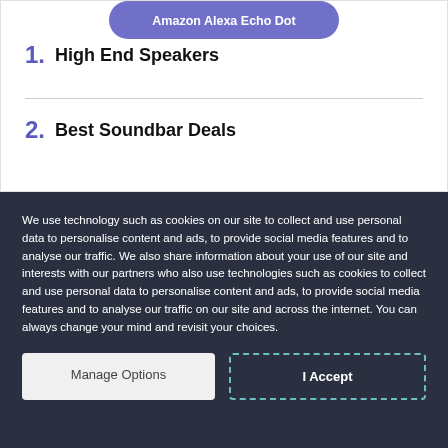[Figure (screenshot): Amazon Alexa Echo Dot product button in purple/indigo rounded rectangle]
1. High End Speakers
2. Best Soundbar Deals
We use technology such as cookies on our site to collect and use personal data to personalise content and ads, to provide social media features and to analyse our traffic. We also share information about your use of our site and interests with our partners who also use technologies such as cookies to collect and use personal data to personalise content and ads, to provide social media features and to analyse our traffic on our site and across the internet. You can always change your mind and revisit your choices.
Manage Options | I Accept